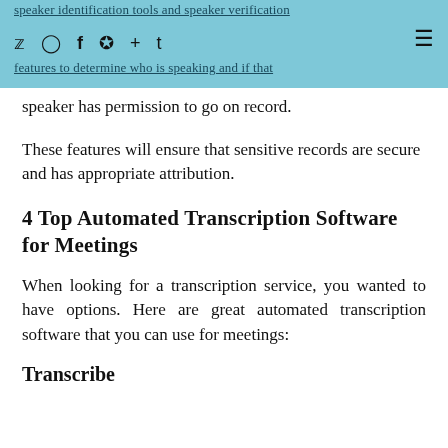speaker identification tools and speaker verification features to determine who is speaking and if that speaker has permission to go on record.
These features will ensure that sensitive records are secure and has appropriate attribution.
4 Top Automated Transcription Software for Meetings
When looking for a transcription service, you wanted to have options. Here are great automated transcription software that you can use for meetings:
Transcribe